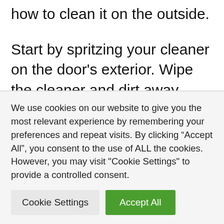how to clean it on the outside.
Start by spritzing your cleaner on the door's exterior. Wipe the cleaner and dirt away using a microfiber cloth. Buff any streaks present using a dry microfiber cloth.
Next, open the door and wipe off any bits of dirt
We use cookies on our website to give you the most relevant experience by remembering your preferences and repeat visits. By clicking “Accept All”, you consent to the use of ALL the cookies. However, you may visit "Cookie Settings" to provide a controlled consent.
Cookie Settings | Accept All